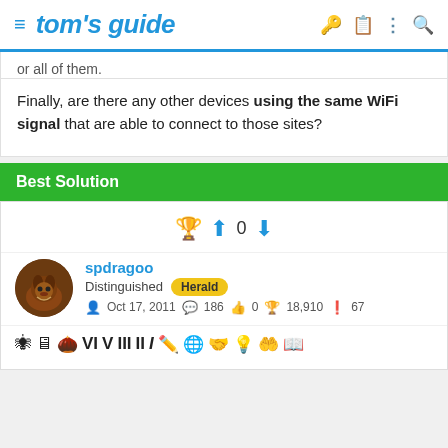tom's guide
or all of them.
Finally, are there any other devices using the same WiFi signal that are able to connect to those sites?
Best Solution
spdragoo
Distinguished Herald
Oct 17, 2011  186  0  18,910  67